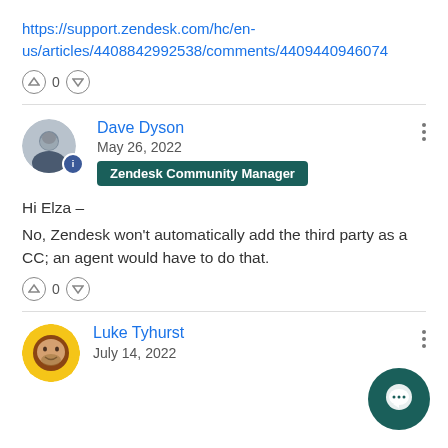https://support.zendesk.com/hc/en-us/articles/4408842992538/comments/4409440946074
↑ 0 ↓
Dave Dyson
May 26, 2022
Zendesk Community Manager
Hi Elza –

No, Zendesk won't automatically add the third party as a CC; an agent would have to do that.
↑ 0 ↓
Luke Tyhurst
July 14, 2022